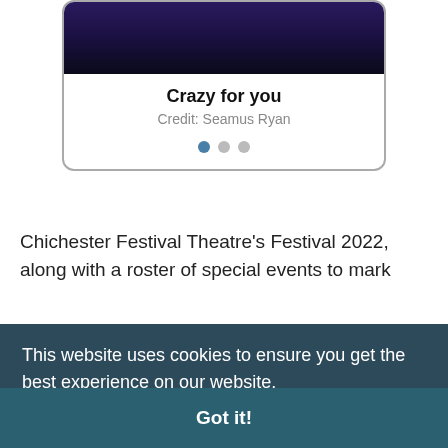[Figure (screenshot): A card UI element showing a dark theatrical stage image at the top, with bold title 'Crazy for you' and credit line 'Credit: Seamus Ryan', followed by three pagination dots (first dot active/filled teal, other two inactive/grey).]
Chichester Festival Theatre's Festival 2022, along with a roster of special events to mark
its 60th anniversary season, has been announced. Artistic Director Daniel Evan... The season features five musicals, Crazy For You directed by Susan Stroman (music and lyrics by George and Ira Gershwin, book by Ken Ludwig), with Charlie Stemp heading the cast...
This website uses cookies to ensure you get the best experience on our website.
Learn more
Got it!